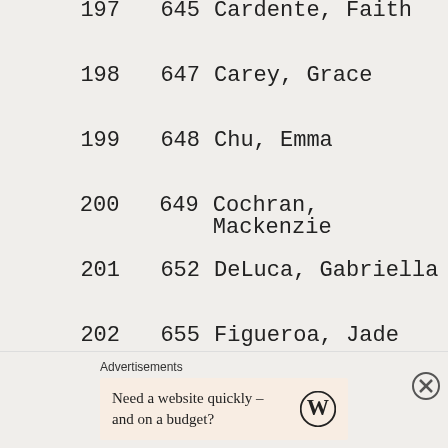197    645 Cardente, Faith
198    647 Carey, Grace
199    648 Chu, Emma
200    649 Cochran, Mackenzie
201    652 DeLuca, Gabriella
202    655 Figueroa, Jade
203    656 Gentile, Alyssa
204    658 Green, Olivia
205    660 Hanson, Tess
206    661 Hartnett, Hannah
207    666 Keen, Kendal
208    667 Kelly, Veronica
209    668 Kern, Emma
Advertisements
Need a website quickly – and on a budget?